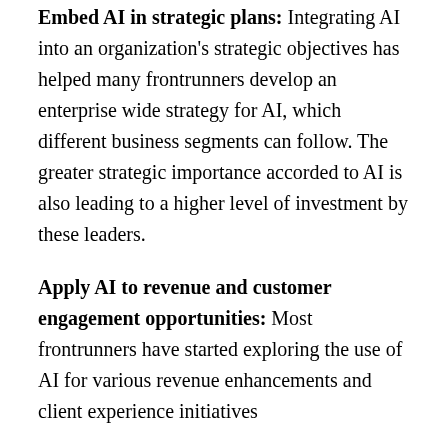Embed AI in strategic plans: Integrating AI into an organization's strategic objectives has helped many frontrunners develop an enterprise wide strategy for AI, which different business segments can follow. The greater strategic importance accorded to AI is also leading to a higher level of investment by these leaders.
Apply AI to revenue and customer engagement opportunities: Most frontrunners have started exploring the use of AI for various revenue enhancements and client experience initiatives
Utilize multiple options for acquiring…